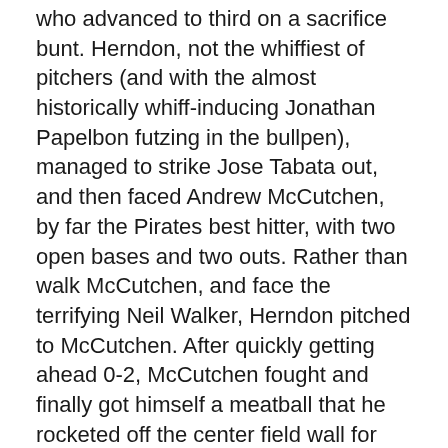who advanced to third on a sacrifice bunt. Herndon, not the whiffiest of pitchers (and with the almost historically whiff-inducing Jonathan Papelbon futzing in the bullpen), managed to strike Jose Tabata out, and then faced Andrew McCutchen, by far the Pirates best hitter, with two open bases and two outs. Rather than walk McCutchen, and face the terrifying Neil Walker, Herndon pitched to McCutchen. After quickly getting ahead 0-2, McCutchen fought and finally got himself a meatball that he rocketed off the center field wall for the win.
Worley's Line: Six innings, five hits, one run, one walk, five strikeouts. Pretty much his 2011 template.
The bullpen? Two and two thirds innings, six hits, three runs, and a special assist from Ty Wigginton and Brian Schneider.